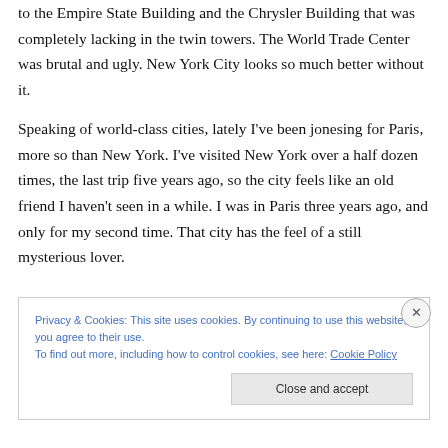to the Empire State Building and the Chrysler Building that was completely lacking in the twin towers. The World Trade Center was brutal and ugly. New York City looks so much better without it.
Speaking of world-class cities, lately I've been jonesing for Paris, more so than New York. I've visited New York over a half dozen times, the last trip five years ago, so the city feels like an old friend I haven't seen in a while. I was in Paris three years ago, and only for my second time. That city has the feel of a still mysterious lover.
Privacy & Cookies: This site uses cookies. By continuing to use this website, you agree to their use.
To find out more, including how to control cookies, see here: Cookie Policy